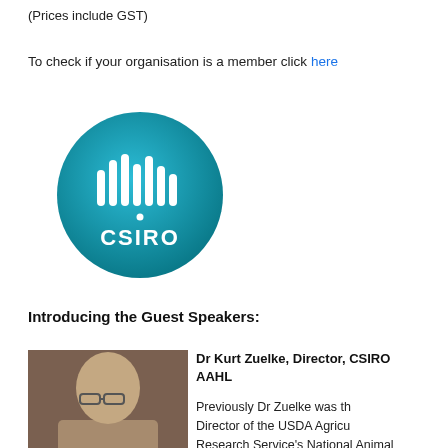(Prices include GST)
To check if your organisation is a member click here
[Figure (logo): CSIRO circular logo — teal/cyan gradient circle with white vertical bar chart icon and 'CSIRO' text below in white]
Introducing the Guest Speakers:
[Figure (photo): Headshot of Dr Kurt Zuelke, a man with glasses]
Dr Kurt Zuelke, Director, CSIRO AAHL
Previously Dr Zuelke was th Director of the USDA Agricu Research Service's National Animal